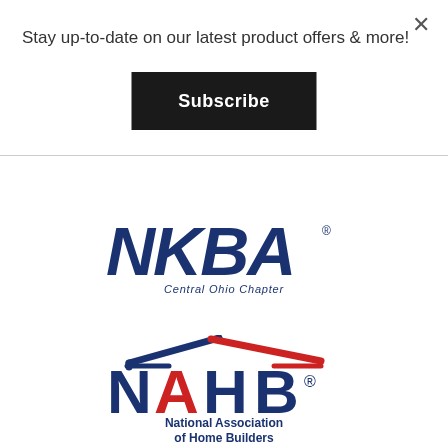×
Stay up-to-date on our latest product offers & more!
Subscribe
[Figure (logo): NKBA Central Ohio Chapter logo — bold italic dark blue letters NKBA with 'Central Ohio Chapter' subtitle]
[Figure (logo): NAHB National Association of Home Builders logo — house roofline graphic above NAHB letters with subtitle 'National Association of Home Builders']